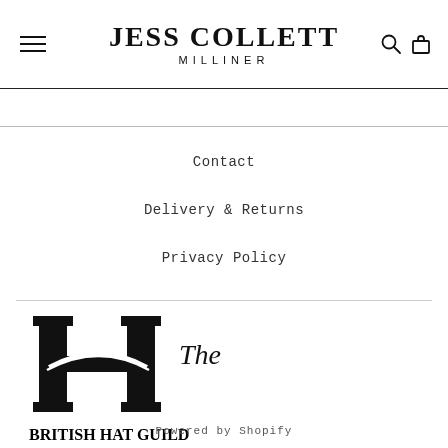JESS COLLETT MILLINER
Contact
Delivery & Returns
Privacy Policy
[Figure (logo): The British Hat Guild logo — large H letterform with a hat swoosh, beside italic script 'The' and bold serif 'BRITISH HAT GUILD']
Powered by Shopify